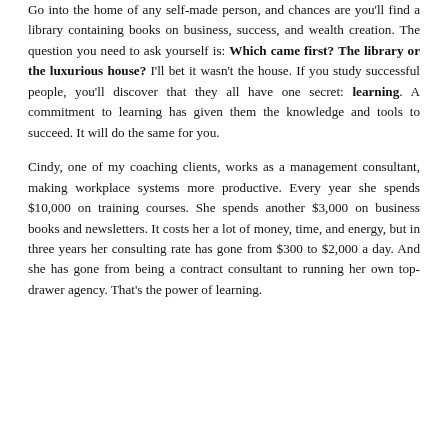Go into the home of any self-made person, and chances are you'll find a library containing books on business, success, and wealth creation. The question you need to ask yourself is: Which came first? The library or the luxurious house? I'll bet it wasn't the house. If you study successful people, you'll discover that they all have one secret: learning. A commitment to learning has given them the knowledge and tools to succeed. It will do the same for you.
Cindy, one of my coaching clients, works as a management consultant, making workplace systems more productive. Every year she spends $10,000 on training courses. She spends another $3,000 on business books and newsletters. It costs her a lot of money, time, and energy, but in three years her consulting rate has gone from $300 to $2,000 a day. And she has gone from being a contract consultant to running her own top-drawer agency. That's the power of learning.